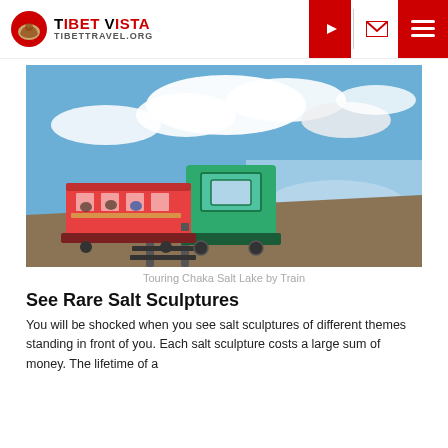Tibet Vista — TIBETTRAVEL.ORG
[Figure (photo): A small green tourist train carrying passengers along a narrow track beside Chaka Salt Lake, with vivid blue sky and clouds reflecting on the lake surface.]
Touring Chaka Salt Lake by Train
See Rare Salt Sculptures
You will be shocked when you see salt sculptures of different themes standing in front of you. Each salt sculpture costs a large sum of money. The lifetime of a